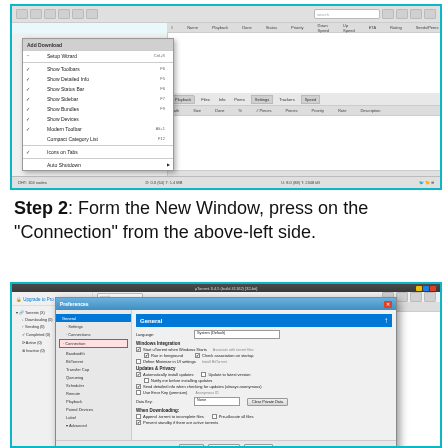[Figure (screenshot): Screenshot of a BitTorrent-like download manager application showing a dropdown menu with options including Show Toolbars, Show Detailed Info, Show Status Bar, Show Sidebar, Show Bundles, Show Devices, Modern Toolbar, Compact Category List, Icons on Tabs, Auto Shutdown with keyboard shortcuts listed.]
Step 2: Form the New Window, press on the "Connection" from the above-left side.
[Figure (screenshot): Screenshot of µTorrent preferences/settings dialog window with a left sidebar showing General, Settings, Connections (highlighted in red), Bandwidth, BitTorrent, Transfer Cap, Queueing, Scheduler, Remote, Playback, Paired Devices, Label, Advanced. The main panel shows General settings with Windows Integration options, Updates & Privacy settings, and Download options. OK, Cancel, Apply buttons at bottom.]